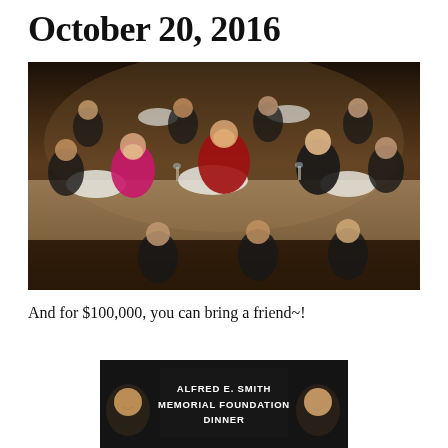October 20, 2016
[Figure (photo): A photo of a formal dinner event showing Hillary Clinton (in pink), a Cardinal in red, and Donald Trump seated at a head table with other attendees in formal attire with white floral centerpieces.]
And for $100,000, you can bring a friend~!
[Figure (photo): Alfred E. Smith Memorial Foundation Dinner promotional image showing Trump on the left and Clinton on the right with the event title text in the center.]